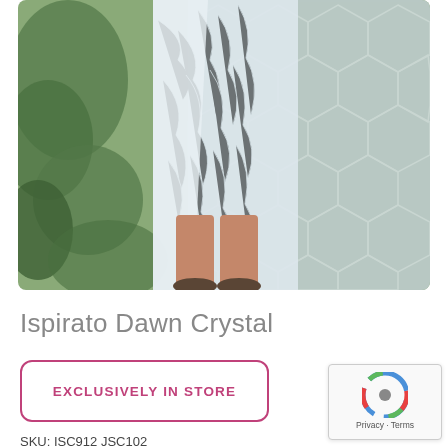[Figure (photo): Fashion product photo of a woman wearing the Ispirato Dawn Crystal dress — a light blue/grey textured dress with a wrap overlay — standing in front of a hexagonal glass greenhouse panel with green foliage visible.]
Ispirato Dawn Crystal
EXCLUSIVELY IN STORE
SKU: ISC912 ISC102